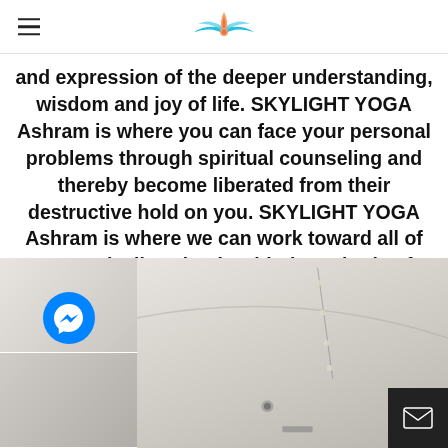SKYLIGHT YOGA Ashram — logo and hamburger menu
and expression of the deeper understanding, wisdom and joy of life. SKYLIGHT YOGA Ashram is where you can face your personal problems through spiritual counseling and thereby become liberated from their destructive hold on you. SKYLIGHT YOGA Ashram is where we can work toward all of our goals, live simply with the attitude of loving kindness and receive profound guidance for enlightenment in daily life.
[Figure (photo): Three photos: top-left thumbnail with Messenger chat icon overlay, bottom-left thumbnail of interior room, and large main photo of interior ceiling/room with track lighting.]